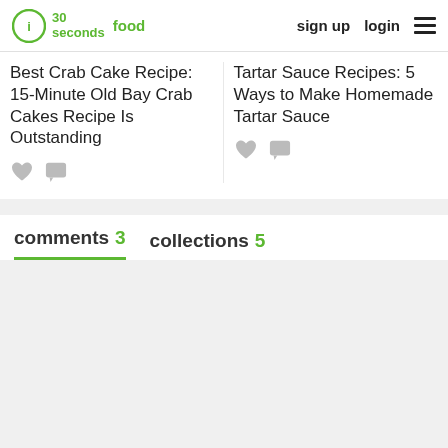30 seconds food | sign up | login
Best Crab Cake Recipe: 15-Minute Old Bay Crab Cakes Recipe Is Outstanding
Tartar Sauce Recipes: 5 Ways to Make Homemade Tartar Sauce
comments 3   collections 5